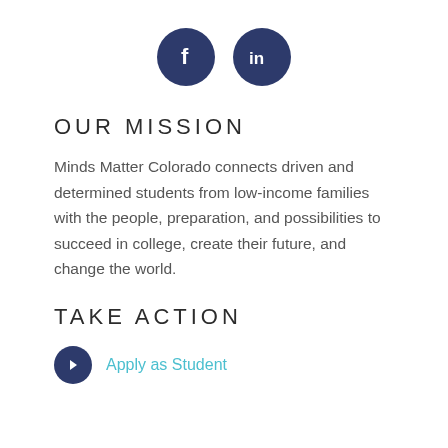[Figure (illustration): Two dark navy circular social media icons: Facebook (f) and LinkedIn (in)]
OUR MISSION
Minds Matter Colorado connects driven and determined students from low-income families with the people, preparation, and possibilities to succeed in college, create their future, and change the world.
TAKE ACTION
Apply as Student